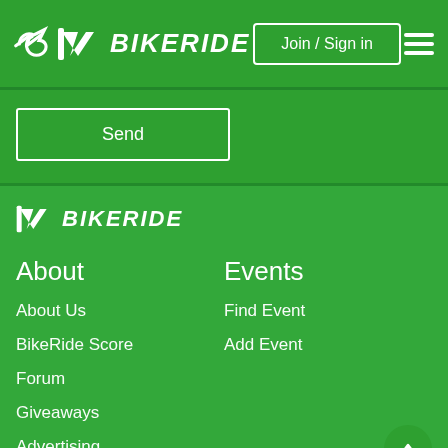BIKERIDE — Join / Sign in
Send
[Figure (logo): BikeRide logo in footer — white wing/arrow icon with BIKERIDE text in italic bold white]
About
Events
About Us
Find Event
BikeRide Score
Add Event
Forum
Giveaways
Advertising